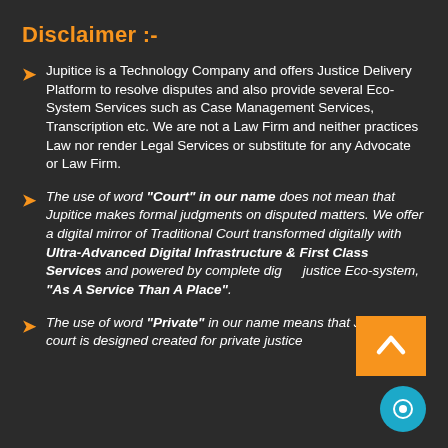Disclaimer :-
Jupitice is a Technology Company and offers Justice Delivery Platform to resolve disputes and also provide several Eco-System Services such as Case Management Services, Transcription etc. We are not a Law Firm and neither practices Law nor render Legal Services or substitute for any Advocate or Law Firm.
The use of word "Court" in our name does not mean that Jupitice makes formal judgments on disputed matters. We offer a digital mirror of Traditional Court transformed digitally with Ultra-Advanced Digital Infrastructure & First Class Services and powered by complete digital justice Eco-system, "As A Service Than A Place".
The use of word "Private" in our name means that Jupitice court is designed created for private justice